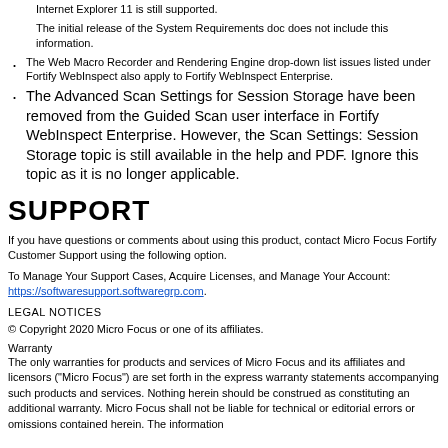Internet Explorer 11 is still supported.
The initial release of the System Requirements doc does not include this information.
The Web Macro Recorder and Rendering Engine drop-down list issues listed under Fortify WebInspect also apply to Fortify WebInspect Enterprise.
The Advanced Scan Settings for Session Storage have been removed from the Guided Scan user interface in Fortify WebInspect Enterprise. However, the Scan Settings: Session Storage topic is still available in the help and PDF. Ignore this topic as it is no longer applicable.
SUPPORT
If you have questions or comments about using this product, contact Micro Focus Fortify Customer Support using the following option.
To Manage Your Support Cases, Acquire Licenses, and Manage Your Account: https://softwaresupport.softwaregrp.com.
LEGAL NOTICES
© Copyright 2020 Micro Focus or one of its affiliates.
Warranty
The only warranties for products and services of Micro Focus and its affiliates and licensors (“Micro Focus”) are set forth in the express warranty statements accompanying such products and services. Nothing herein should be construed as constituting an additional warranty. Micro Focus shall not be liable for technical or editorial errors or omissions contained herein. The information